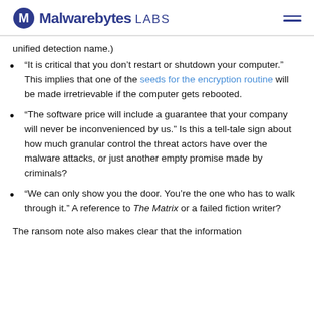Malwarebytes LABS
unified detection name.)
“It is critical that you don’t restart or shutdown your computer.” This implies that one of the seeds for the encryption routine will be made irretrievable if the computer gets rebooted.
“The software price will include a guarantee that your company will never be inconvenienced by us.” Is this a tell-tale sign about how much granular control the threat actors have over the malware attacks, or just another empty promise made by criminals?
“We can only show you the door. You’re the one who has to walk through it.” A reference to The Matrix or a failed fiction writer?
The ransom note also makes clear that the information